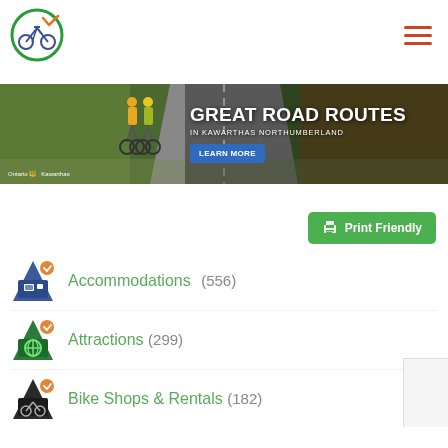[Figure (logo): Bicycle inside green circle with orange checkmark — website logo]
[Figure (illustration): Hamburger menu icon with three orange horizontal lines]
[Figure (photo): Banner ad: two cyclists on a road through green landscape. Text: GREAT ROAD ROUTES IN KAWARTHAS NORTHUMBERLAND. Ontario and Kawarthas logos bottom left. Blue LEARN MORE button right.]
Print Friendly
Accommodations (556)
Attractions (299)
Bike Shops & Rentals (182)